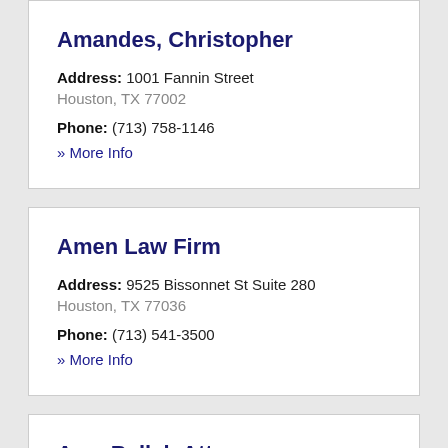Amandes, Christopher
Address: 1001 Fannin Street Houston, TX 77002
Phone: (713) 758-1146
» More Info
Amen Law Firm
Address: 9525 Bissonnet St Suite 280 Houston, TX 77036
Phone: (713) 541-3500
» More Info
Amy Bellah Attorney